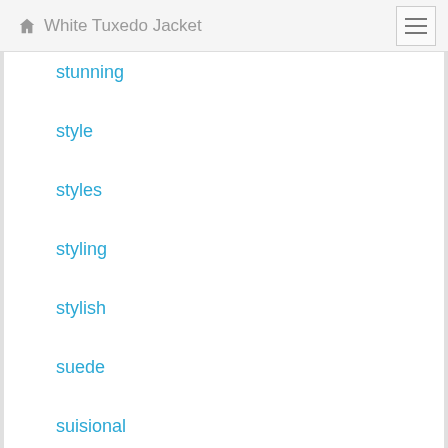White Tuxedo Jacket
stunning
style
styles
styling
stylish
suede
suisional
suistudio
suit
suits